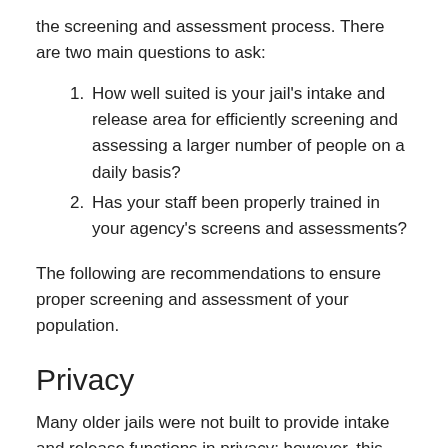the screening and assessment process. There are two main questions to ask:
1. How well suited is your jail's intake and release area for efficiently screening and assessing a larger number of people on a daily basis?
2. Has your staff been properly trained in your agency's screens and assessments?
The following are recommendations to ensure proper screening and assessment of your population.
Privacy
Many older jails were not built to provide intake and release functions in privacy; however, this does not mean that improvements cannot be made.¹ Information collection that might involve sensitive information and